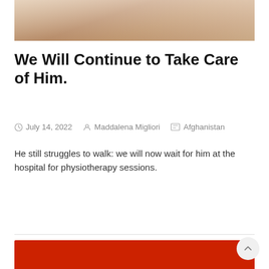[Figure (photo): Partial view of a medical/physiotherapy scene showing an arm and white fabric, cropped at top of page]
We Will Continue to Take Care of Him.
July 14, 2022   Maddalena Migliori   Afghanistan
He still struggles to walk: we will now wait for him at the hospital for physiotherapy sessions.
Read more
[Figure (other): Red banner/footer area at the bottom of the page]